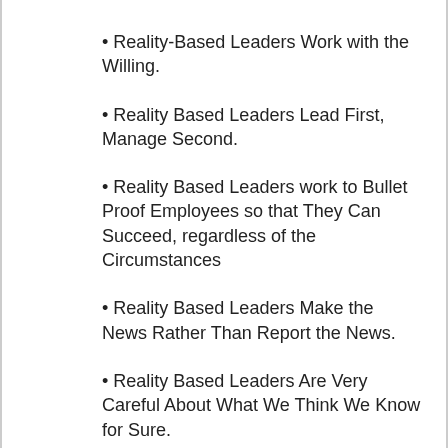• Reality-Based Leaders Work with the Willing.
• Reality Based Leaders Lead First, Manage Second.
• Reality Based Leaders work to Bullet Proof Employees so that They Can Succeed, regardless of the Circumstances
• Reality Based Leaders Make the News Rather Than Report the News.
• Reality Based Leaders Are Very Careful About What We Think We Know for Sure.
• Reality Based Leaders Work to Be